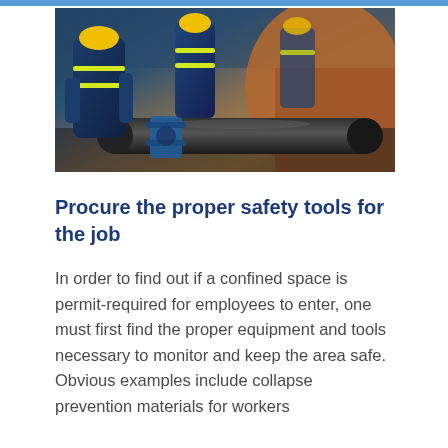[Figure (photo): Workers in blue safety uniforms with high-visibility yellow stripes installing or repairing a large black pipeline in an excavated trench with orange/brown soil.]
Procure the proper safety tools for the job
In order to find out if a confined space is permit-required for employees to enter, one must first find the proper equipment and tools necessary to monitor and keep the area safe. Obvious examples include collapse prevention materials for workers